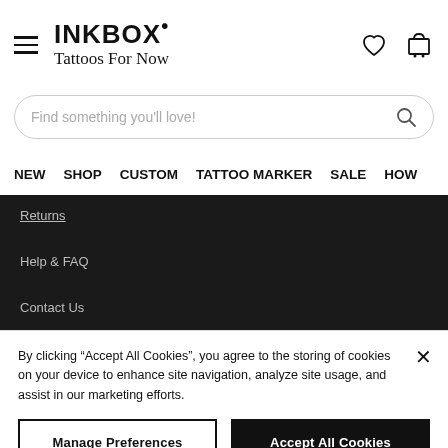INKBOX • Tattoos For Now
Find something you'll love!
NEW  SHOP  CUSTOM  TATTOO MARKER  SALE  HOW
Returns
Help & FAQ
Contact Us
By clicking “Accept All Cookies”, you agree to the storing of cookies on your device to enhance site navigation, analyze site usage, and assist in our marketing efforts.
Manage Preferences
Accept All Cookies